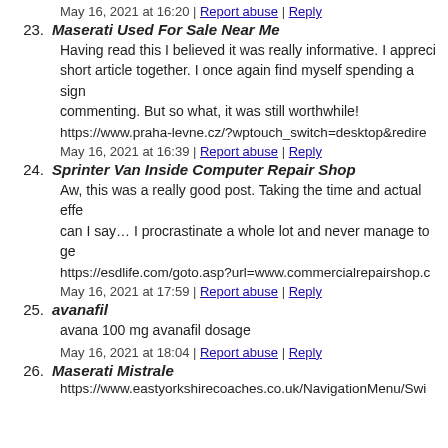May 16, 2021 at 16:20 | Report abuse | Reply
23. Maserati Used For Sale Near Me
Having read this I believed it was really informative. I appreci... short article together. I once again find myself spending a sign... commenting. But so what, it was still worthwhile!
https://www.praha-levne.cz/?wptouch_switch=desktop&redire...
May 16, 2021 at 16:39 | Report abuse | Reply
24. Sprinter Van Inside Computer Repair Shop
Aw, this was a really good post. Taking the time and actual effe... can I say… I procrastinate a whole lot and never manage to ge...
https://esdlife.com/goto.asp?url=www.commercialrepairshop.c...
May 16, 2021 at 17:59 | Report abuse | Reply
25. avanafil
avana 100 mg avanafil dosage
May 16, 2021 at 18:04 | Report abuse | Reply
26. Maserati Mistrale
https://www.eastyorkshirecoaches.co.uk/NavigationMenu/Swi...